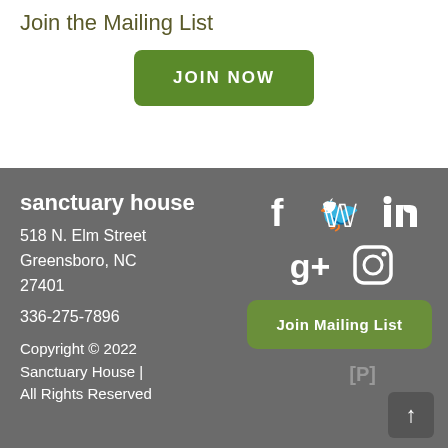Join the Mailing List
JOIN NOW
sanctuary house
518 N. Elm Street
Greensboro, NC
27401
336-275-7896
Copyright © 2022 Sanctuary House | All Rights Reserved
[Figure (infographic): Social media icons: Facebook, Twitter, LinkedIn, Google+, Instagram]
Join Mailing List
[P]